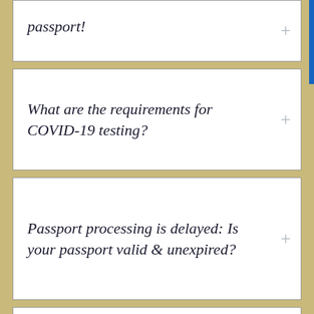passport!
What are the requirements for COVID-19 testing?
Passport processing is delayed: Is your passport valid & unexpired?
Are you using a debit card?